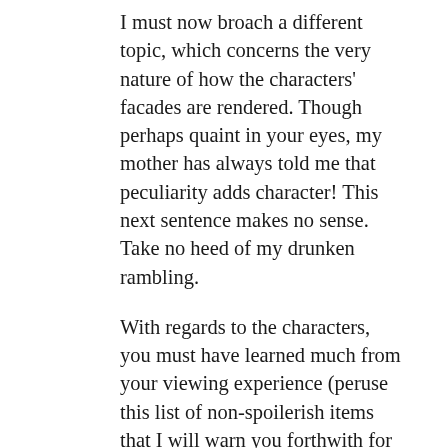I must now broach a different topic, which concerns the very nature of how the characters' facades are rendered. Though perhaps quaint in your eyes, my mother has always told me that peculiarity adds character! This next sentence makes no sense. Take no heed of my drunken rambling.
With regards to the characters, you must have learned much from your viewing experience (peruse this list of non-spoilerish items that I will warn you forthwith for I am a gentleman). If I may advance a conjecture, I do believe that the story is truly about. . . again, a gentleman must never watch and tell without proper protection: a most daring vision of love and unity! Now, let's admit,